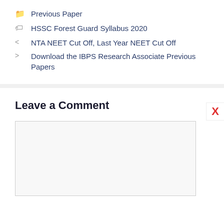Previous Paper
HSSC Forest Guard Syllabus 2020
NTA NEET Cut Off, Last Year NEET Cut Off
Download the IBPS Research Associate Previous Papers
Leave a Comment